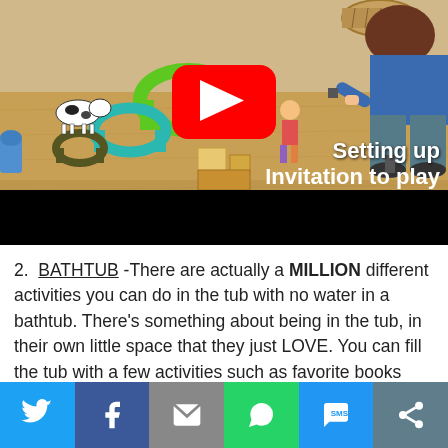[Figure (screenshot): YouTube video thumbnail showing a child playing with wooden toys and arches on a floor, with text overlay 'Setting up Invitation to play' and a YouTube play button in the center.]
2. BATHTUB -There are actually a MILLION different activities you can do in the tub with no water in a bathtub. There's something about being in the tub, in their own little space that they just LOVE. You can fill the tub with a few activities such as favorite books
[Figure (infographic): Social sharing bar with Twitter, Facebook, Email, WhatsApp, SMS, and share icons]